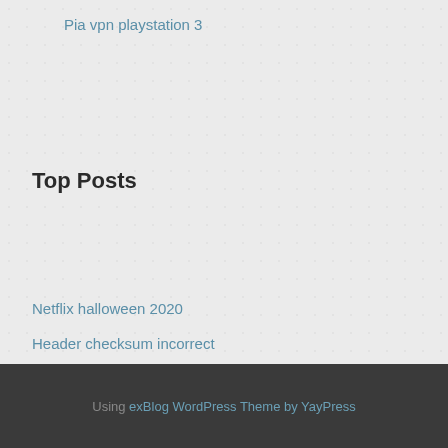Pia vpn playstation 3
Top Posts
Netflix halloween 2020
Header checksum incorrect
3128 proxy server
Cisco 2911 vpn throughput
Hook up xbox to computer
Using exBlog WordPress Theme by YayPress